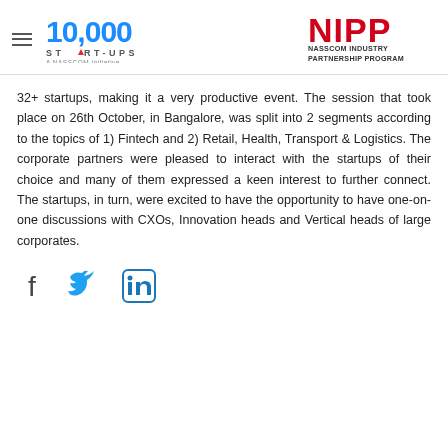[10,000 Startups - A NASSCOM Initiative logo] [NIPP NASSCOM INDUSTRY PARTNERSHIP PROGRAM logo]
32+ startups, making it a very productive event. The session that took place on 26th October, in Bangalore, was split into 2 segments according to the topics of 1) Fintech and 2) Retail, Health, Transport & Logistics. The corporate partners were pleased to interact with the startups of their choice and many of them expressed a keen interest to further connect. The startups, in turn, were excited to have the opportunity to have one-on-one discussions with CXOs, Innovation heads and Vertical heads of large corporates.
[Figure (illustration): Social media share icons: Facebook, Twitter, LinkedIn]